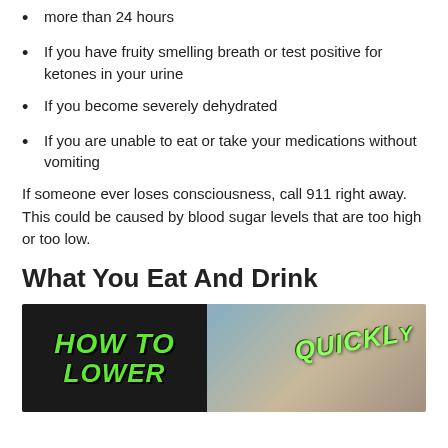more than 24 hours
If you have fruity smelling breath or test positive for ketones in your urine
If you become severely dehydrated
If you are unable to eat or take your medications without vomiting
If someone ever loses consciousness, call 911 right away. This could be caused by blood sugar levels that are too high or too low.
What You Eat And Drink
[Figure (photo): Video thumbnail showing 'HOW TO' text in green on black background on left side, a person's face in center-right, and 'QUICKLY' text in green on right side]